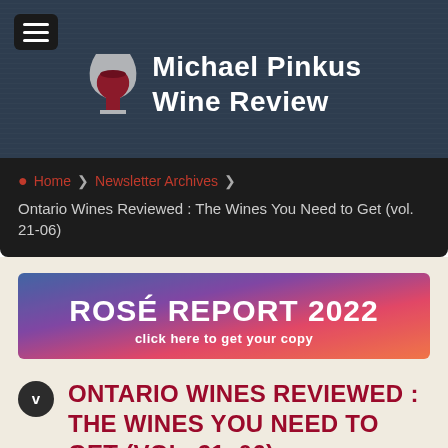Michael Pinkus Wine Review
Home > Newsletter Archives > Ontario Wines Reviewed : The Wines You Need to Get (vol. 21-06)
[Figure (illustration): Rosé Report 2022 banner with gradient background from blue to pink/red, white bold text 'ROSÉ REPORT 2022' and subtitle 'click here to get your copy']
ONTARIO WINES REVIEWED : THE WINES YOU NEED TO GET (VOL. 21-06)